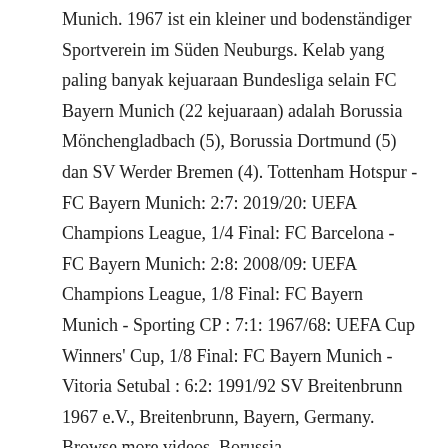Munich. 1967 ist ein kleiner und bodenständiger Sportverein im Süden Neuburgs. Kelab yang paling banyak kejuaraan Bundesliga selain FC Bayern Munich (22 kejuaraan) adalah Borussia Mönchengladbach (5), Borussia Dortmund (5) dan SV Werder Bremen (4). Tottenham Hotspur - FC Bayern Munich: 2:7: 2019/20: UEFA Champions League, 1/4 Final: FC Barcelona - FC Bayern Munich: 2:8: 2008/09: UEFA Champions League, 1/8 Final: FC Bayern Munich - Sporting CP : 7:1: 1967/68: UEFA Cup Winners' Cup, 1/8 Final: FC Bayern Munich - Vitoria Setubal : 6:2: 1991/92 SV Breitenbrunn 1967 e.V., Breitenbrunn, Bayern, Germany. Browse more videos. Borussia Mönchengladbach: 34 15 12 7 77 45 1.711 42 4. Bundesliga I 33 0 1967/68 FC Bayern München 1. Secara keseluruhannya, 12 kelab telah berjaya memenangi kejuaraan Bundesliga. Informationen über den Bayern aus der Saison Bundesliga-1967/1968. Eintracht Braunschweig: 1967./68. Livros Olá, Faça seu login. O FC Bayern de Munique mantém projetos de